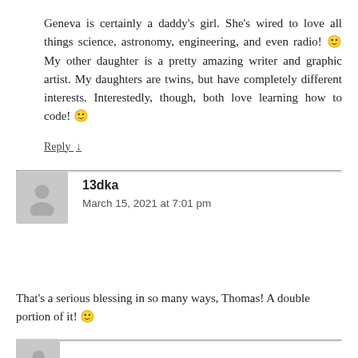Geneva is certainly a daddy's girl. She's wired to love all things science, astronomy, engineering, and even radio! 🙂 My other daughter is a pretty amazing writer and graphic artist. My daughters are twins, but have completely different interests. Interestedly, though, both love learning how to code! 🙂
Reply ↓
13dka
March 15, 2021 at 7:01 pm
That's a serious blessing in so many ways, Thomas! A double portion of it! 🙂